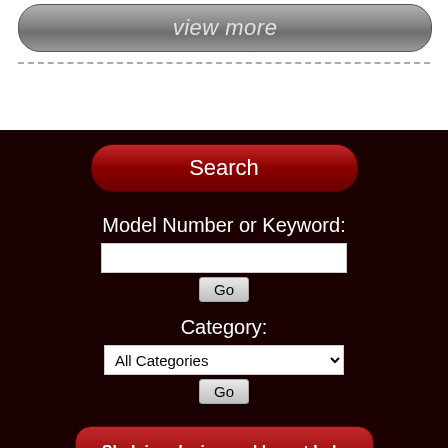[Figure (screenshot): A gray gradient rounded button labeled 'view more' in italic light gray text]
[Figure (screenshot): Dark red rounded button labeled 'Search' in white text]
Model Number or Keyword:
Category:
All Categories
Shelving design and layout help available from one of our experienced staff.
Trust our 100% secure ordering system for a hassle free shelf buying experience. If you need help, call 877-336-3935
[Figure (screenshot): Dark red rounded button labeled 'Industries Served' partially visible at bottom]